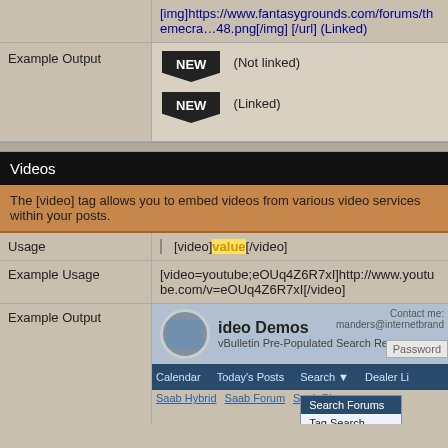|  | [img]https://www.fantasygrounds.com/forums/themecra…48.png[/img] [/url] (Linked) |
| Example Output | (NEW badge) (Not linked)
(NEW badge) (Linked) |
Videos
The [video] tag allows you to embed videos from various video services within your posts.
| Usage | [video]value[/video] |
| Example Usage | [video=youtube;eOUq4Z6R7xI]http://www.youtube.com/v=eOUq4Z6R7xI[/video] |
| Example Output | (video screenshot) |